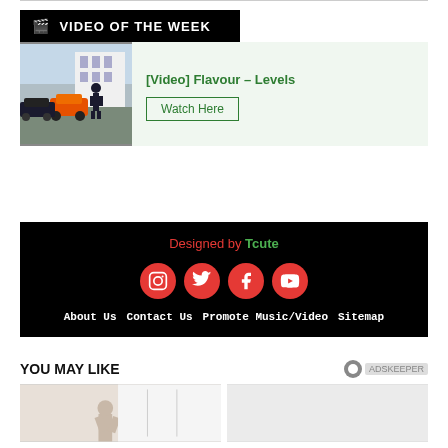VIDEO OF THE WEEK
[Figure (screenshot): Thumbnail image showing a person in a suit near luxury cars including an orange Lamborghini and Rolls-Royce in front of a white mansion]
[Video] Flavour – Levels
Watch Here
Designed by Tcute
[Figure (infographic): Social media icons: Instagram, Twitter, Facebook, YouTube — red circles with white icons]
About Us   Contact Us   Promote Music/Video   Sitemap
YOU MAY LIKE
[Figure (photo): Photo of a person with arms raised, light background]
[Figure (photo): Second image placeholder, light/white background]